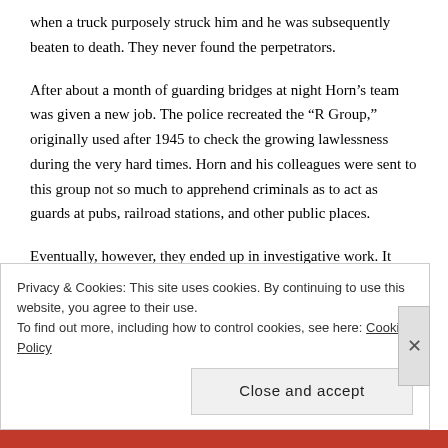when a truck purposely struck him and he was subsequently beaten to death. They never found the perpetrators.
After about a month of guarding bridges at night Horn’s team was given a new job. The police recreated the “R Group,” originally used after 1945 to check the growing lawlessness during the very hard times. Horn and his colleagues were sent to this group not so much to apprehend criminals as to act as guards at pubs, railroad stations, and other public places.
Eventually, however, they ended up in investigative work. It turned out that one of these investigations also included beating the suspects. Horn and his best friend in this group tried to intervene, but they were accused of betraying the cause. Soon enough came an investigation
Privacy & Cookies: This site uses cookies. By continuing to use this website, you agree to their use.
To find out more, including how to control cookies, see here: Cookie Policy
Close and accept